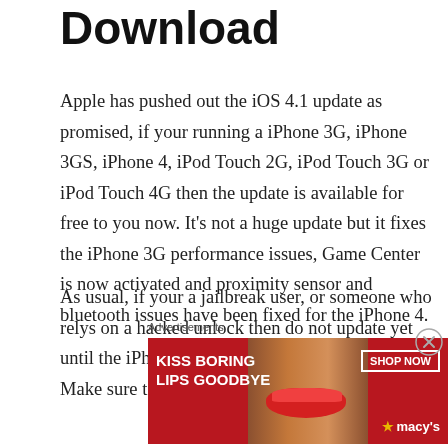Download
Apple has pushed out the iOS 4.1 update as promised, if your running a iPhone 3G, iPhone 3GS, iPhone 4, iPod Touch 2G, iPod Touch 3G or iPod Touch 4G then the update is available for free to you now. It’s not a huge update but it fixes the iPhone 3G performance issues, Game Center is now activated and proximity sensor and bluetooth issues have been fixed for the iPhone 4.
As usual, if your a jailbreak user, or someone who relys on a hacked unlock then do not update yet until the iPhone Dev-Team give the go ahead. Make sure to
Advertisements
[Figure (photo): Macy's advertisement banner: red background with woman's face showing lips, text 'KISS BORING LIPS GOODBYE', 'SHOP NOW' button, and Macy's star logo]